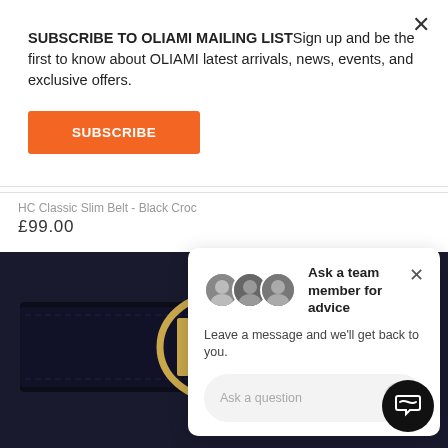SUBSCRIBE TO OLIAMI MAILING LISTSign up and be the first to know about OLIAMI latest arrivals, news, events, and exclusive offers.
SUBSCRIBE
HC Classic Slim Belt - Black Croc
£99.00
[Figure (photo): Photo of a black leather HC Classic Slim Belt with a gold HC monogram buckle on a dark background]
Ask a team member for advice
Leave a message and we'll get back to you.
Ask a question